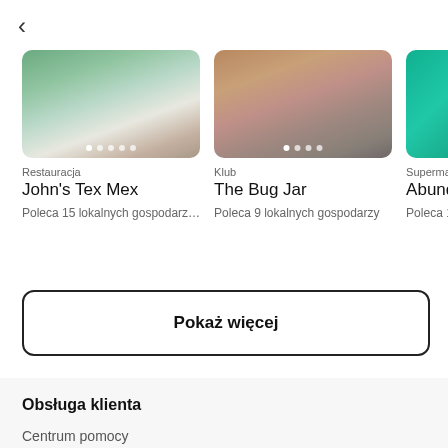<
[Figure (photo): Photo of John's Tex Mex restaurant interior with plants and furniture]
Restauracja
John's Tex Mex
Poleca 15 lokalnych gospodarzy
[Figure (photo): Photo of The Bug Jar club exterior with brick facade]
Klub
The Bug Jar
Poleca 9 lokalnych gospodarzy
[Figure (illustration): Teal/green illustrated graphic for Abundance supermarket]
Supermarket
Abundance
Poleca 19 lok
Pokaż więcej
Obsługa klienta
Centrum pomocy
AirCover